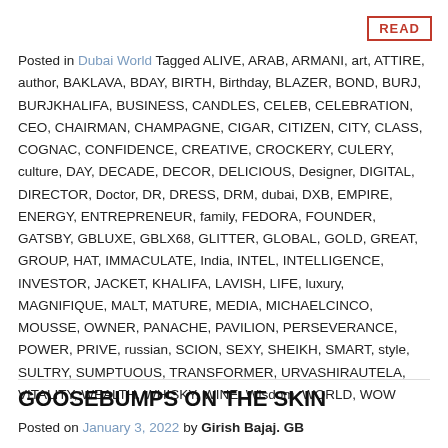READ
Posted in Dubai World Tagged ALIVE, ARAB, ARMANI, art, ATTIRE, author, BAKLAVA, BDAY, BIRTH, Birthday, BLAZER, BOND, BURJ, BURJKHALIFA, BUSINESS, CANDLES, CELEB, CELEBRATION, CEO, CHAIRMAN, CHAMPAGNE, CIGAR, CITIZEN, CITY, CLASS, COGNAC, CONFIDENCE, CREATIVE, CROCKERY, CULERY, culture, DAY, DECADE, DECOR, DELICIOUS, Designer, DIGITAL, DIRECTOR, Doctor, DR, DRESS, DRM, dubai, DXB, EMPIRE, ENERGY, ENTREPRENEUR, family, FEDORA, FOUNDER, GATSBY, GBLUXE, GBLX68, GLITTER, GLOBAL, GOLD, GREAT, GROUP, HAT, IMMACULATE, India, INTEL, INTELLIGENCE, INVESTOR, JACKET, KHALIFA, LAVISH, LIFE, luxury, MAGNIFIQUE, MALT, MATURE, MEDIA, MICHAELCINCO, MOUSSE, OWNER, PANACHE, PAVILION, PERSEVERANCE, POWER, PRIVE, russian, SCION, SEXY, SHEIKH, SMART, style, SULTRY, SUMPTUOUS, TRANSFORMER, URVASHIRAUTELA, VITALITY, WEALTH, WHISKY, WINE, Wisdom, WORLD, WOW
GOOSEBUMPS ON THE SKIN
Posted on January 3, 2022 by Girish Bajaj. GB